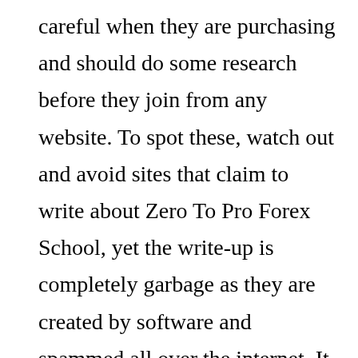careful when they are purchasing and should do some research before they join from any website. To spot these, watch out and avoid sites that claim to write about Zero To Pro Forex School, yet the write-up is completely garbage as they are created by software and spammed all over the internet. It is always better to avoid joining from any other site other than the official one. Therefore, it is highly advised that consumers do careful research, or only buy from the site from the